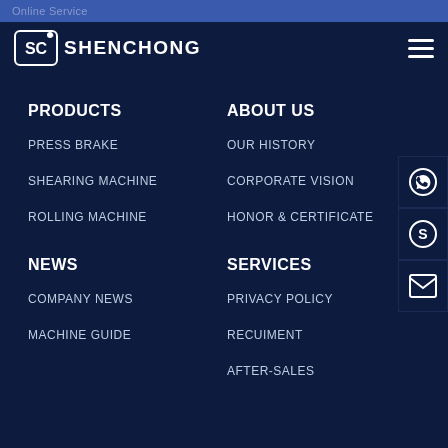Online Service | SHENCHONG
PRODUCTS
PRESS BRAKE
SHEARING MACHINE
ROLLING MACHINE
ABOUT US
OUR HISTORY
CORPORATE VISION
HONOR & CERTIFICATE
NEWS
COMPANY NEWS
MACHINE GUIDE
SERVICES
PRIVACY POLICY
RECUIMENT
AFTER-SALES